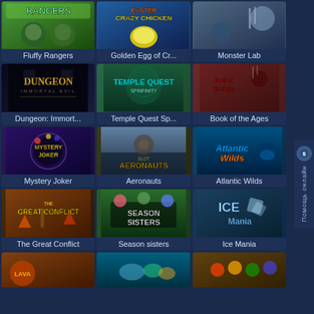[Figure (screenshot): Casino/gaming website grid showing 15 slot game thumbnails with titles: Fluffy Rangers, Golden Egg of Cr..., Monster Lab, Dungeon: Immort..., Temple Quest Sp..., Book of the Ages, Mystery Joker, Aeronauts, Atlantic Wilds, The Great Conflict, Season sisters, Ice Mania, and three partially visible games at the bottom. A side help tab with Cyrillic text 'Помощь онлайн' is visible on the right.]